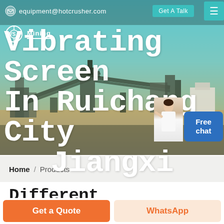equipment@hotcrusher.com  Get A Talk
[Figure (photo): Mining/crushing plant facility with conveyor belts and industrial equipment, hero banner background]
Vibrating Screen In Ruichang City Jiangxi
Free chat
Home / Products
Different Machines To Meet All
Get a Quote
WhatsApp